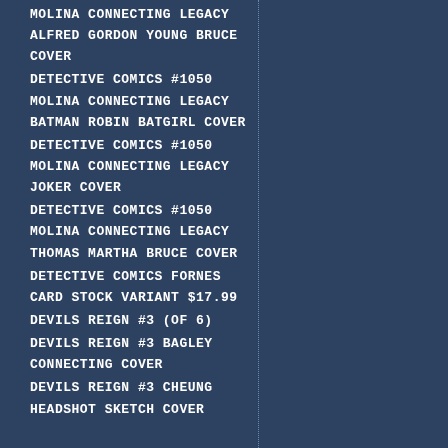MOLINA CONNECTING LEGACY ALFRED GORDON YOUNG BRUCE COVER
DETECTIVE COMICS #1050 MOLINA CONNECTING LEGACY BATMAN ROBIN BATGIRL COVER
DETECTIVE COMICS #1050 MOLINA CONNECTING LEGACY JOKER COVER
DETECTIVE COMICS #1050 MOLINA CONNECTING LEGACY THOMAS MARTHA BRUCE COVER
DETECTIVE COMICS FORNES CARD STOCK VARIANT $17.99
DEVILS REIGN #3 (OF 6)
DEVILS REIGN #3 BAGLEY CONNECTING COVER
DEVILS REIGN #3 CHEUNG HEADSHOT SKETCH COVER